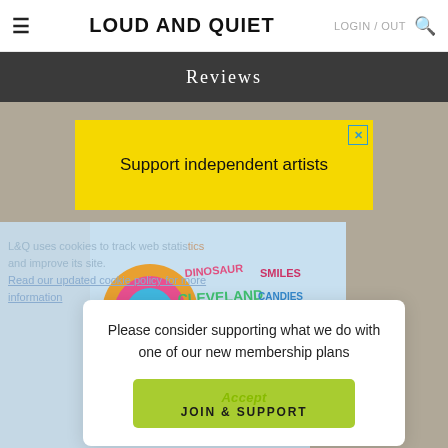LOUD AND QUIET | LOGIN / OUT
Reviews
[Figure (infographic): Yellow advertisement banner reading 'Support independent artists' with a blue X close button]
[Figure (infographic): Colorful album art showing text 'DINOSAUR CLEVELAND KING OF THE WORM SMILES CANDIES' in psychedelic style with blue section overlay showing cookie notice text and membership popup]
L&Q uses cookies to track web statistics and improve its site.
Read our updated cookie policy for more information
Please consider supporting what we do with one of our new membership plans
Accept
JOIN & SUPPORT